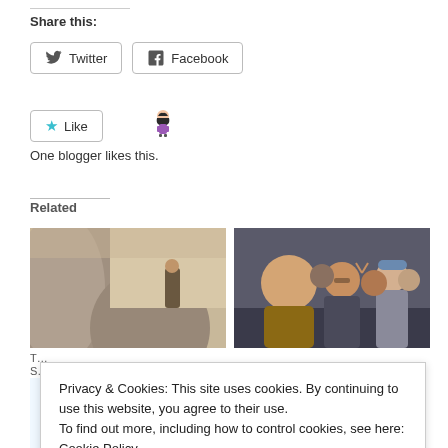Share this:
Twitter  Facebook
Like
One blogger likes this.
Related
[Figure (photo): Close-up photo of a large decorative sculpture or structure with curved grey/tan shapes, and a person visible in background]
[Figure (photo): Group selfie photo of several people at what appears to be a convention, smiling at camera]
[Figure (photo): Partial view of anime/illustration artwork at bottom of page]
Privacy & Cookies: This site uses cookies. By continuing to use this website, you agree to their use.
To find out more, including how to control cookies, see here: Cookie Policy
Close and accept